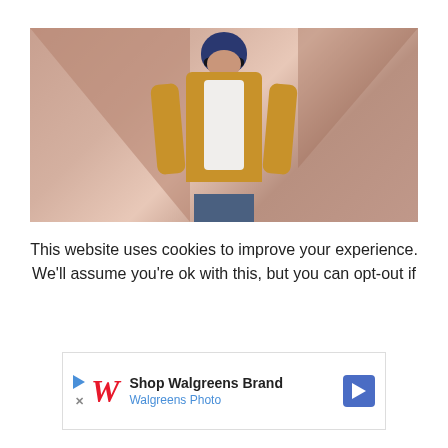[Figure (photo): Fashion photo of a woman wearing a blue turban, round sunglasses, yellow/mustard open cardigan over a white shirt and jeans, posing in front of a geometric pink/salmon building facade.]
This website uses cookies to improve your experience. We'll assume you're ok with this, but you can opt-out if
[Figure (other): Advertisement banner for Walgreens Brand / Walgreens Photo with the Walgreens cursive W logo in red, play and X icons on the left, and a blue navigation arrow icon on the right.]